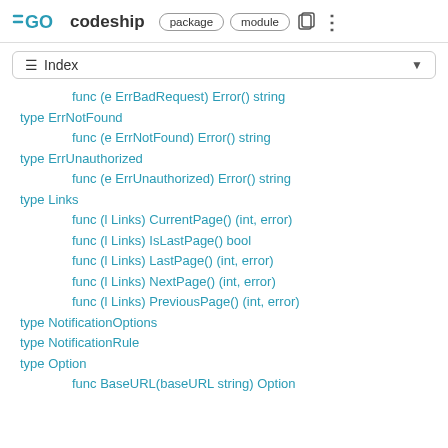GO codeship  package  module
≡ Index
func (e ErrBadRequest) Error() string
type ErrNotFound
func (e ErrNotFound) Error() string
type ErrUnauthorized
func (e ErrUnauthorized) Error() string
type Links
func (l Links) CurrentPage() (int, error)
func (l Links) IsLastPage() bool
func (l Links) LastPage() (int, error)
func (l Links) NextPage() (int, error)
func (l Links) PreviousPage() (int, error)
type NotificationOptions
type NotificationRule
type Option
func BaseURL(baseURL string) Option